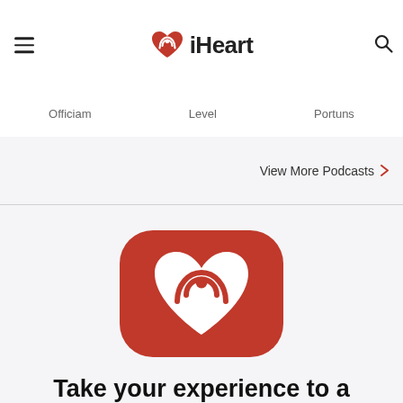iHeart
Officiam   Level   Fortuns
View More Podcasts
[Figure (logo): iHeart app icon: red rounded square with white heart/podcast signal logo]
Take your experience to a